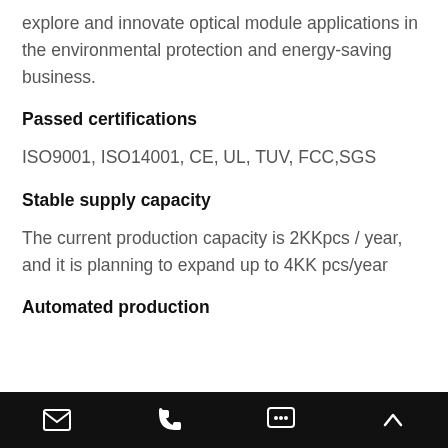explore and innovate optical module applications in the environmental protection and energy-saving business.
Passed certifications
ISO9001, ISO14001, CE, UL, TUV, FCC,SGS
Stable supply capacity
The current production capacity is 2KKpcs / year, and it is planning to expand up to 4KK pcs/year
Automated production
email | phone | chat | up